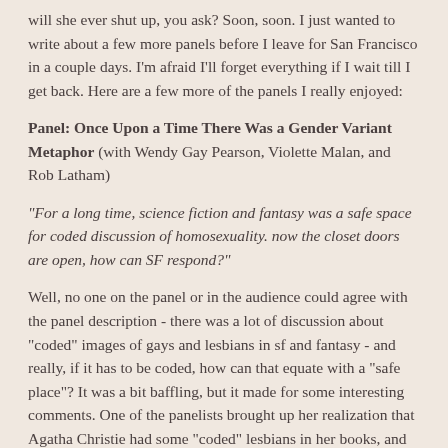will she ever shut up, you ask? Soon, soon. I just wanted to write about a few more panels before I leave for San Francisco in a couple days. I'm afraid I'll forget everything if I wait till I get back. Here are a few more of the panels I really enjoyed:
Panel: Once Upon a Time There Was a Gender Variant Metaphor (with Wendy Gay Pearson, Violette Malan, and Rob Latham)
"For a long time, science fiction and fantasy was a safe space for coded discussion of homosexuality. now the closet doors are open, how can SF respond?"
Well, no one on the panel or in the audience could agree with the panel description - there was a lot of discussion about "coded" images of gays and lesbians in sf and fantasy - and really, if it has to be coded, how can that equate with a "safe place"? It was a bit baffling, but it made for some interesting comments. One of the panelists brought up her realization that Agatha Christie had some "coded" lesbians in her books, and how it was such a revelation for her, and also